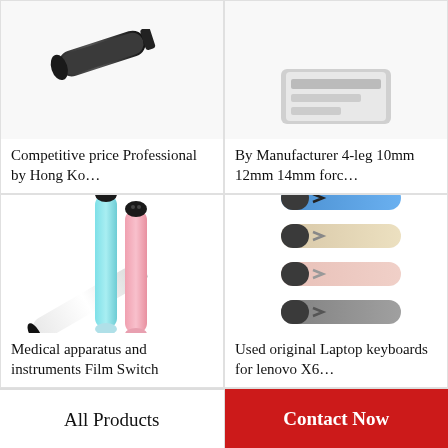[Figure (photo): Partial product image top-left: black pen/device cropped at top]
Competitive price Professional by Hong Ko…
[Figure (photo): Partial product image top-right: cropped at top]
By Manufacturer 4-leg 10mm 12mm 14mm forc…
[Figure (photo): Three disposable vape pens: white/black, light blue, pink standing upright]
Medical apparatus and instruments Film Switch
[Figure (photo): Four stylus pens/USB drives in blue, beige, pink, dark grey colors with chevron pattern]
Used original Laptop keyboards for lenovo X6…
All Products
Contact Now